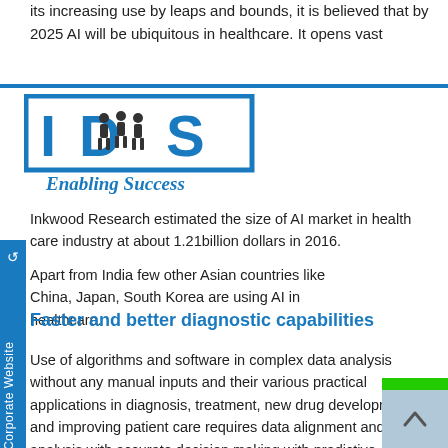its increasing use by leaps and bounds, it is believed that by 2025 AI will be ubiquitous in healthcare. It opens vast
[Figure (logo): IDS logo with blue border, stylized letters I, D (containing people icons), S, and tagline 'Enabling Success' in italic script below]
Inkwood Research estimated the size of AI market in health care industry at about 1.21billion dollars in 2016.
Apart from India few other Asian countries like China, Japan, South Korea are using AI in healthcare.
Faster and better diagnostic capabilities
Use of algorithms and software in complex data analysis without any manual inputs and their various practical applications in diagnosis, treatment, new drug development and improving patient care requires data alignment and analysis with accurate decision making with predictive analytics.
AI tools promise faster service delivery in diagnostic issues and identifying trends, genetic predisposition towards certain